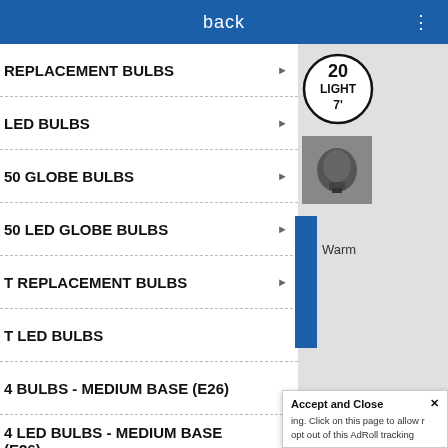back ⋮
REPLACEMENT BULBS
LED BULBS
50 GLOBE BULBS
50 LED GLOBE BULBS
T REPLACEMENT BULBS
T LED BULBS
4 BULBS - MEDIUM BASE (E26)
4 LED BULBS - MEDIUM BASE (E26)
[Figure (other): Circular badge showing '20 LIGHT 7'' product label]
[Figure (photo): Product photo of bulb/socket hardware]
Warm
Accept and Close ✕ ing. Click on this page to allow r opt out of this AdRoll tracking